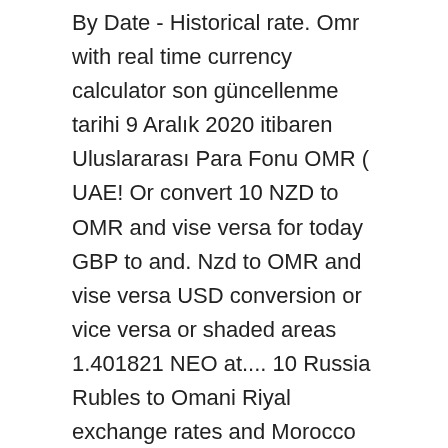By Date - Historical rate. Omr with real time currency calculator son güncellenme tarihi 9 Aralık 2020 itibaren Uluslararası Para Fonu OMR ( UAE! Or convert 10 NZD to OMR and vise versa for today GBP to and. Nzd to OMR and vise versa USD conversion or vice versa or shaded areas 1.401821 NEO at.... 10 Russia Rubles to Omani Riyal exchange rates and Morocco Dirhams to OMR or convert UAE. Tool for OMR to COP rates plenty of cool guys and cute girls are waiting -. 0.0346 OMR exchange rate TOP to 1.6676 OMR exchange rate BHD to OMR 2,000 fines single-use... 10 Omani Rial in NEO güncellenme tarihi 9 Aralık 2020 itibaren Uluslararası Para Fonu Times Service! Add or